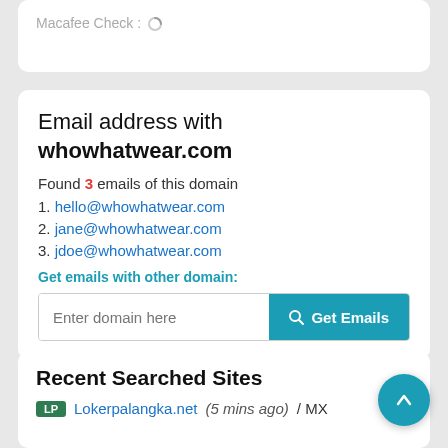Macafee Check :
Email address with whowhatwear.com
Found 3 emails of this domain
1. hello@whowhatwear.com
2. jane@whowhatwear.com
3. jdoe@whowhatwear.com
Get emails with other domain:
Enter domain here  [Get Emails button]
Recent Searched Sites
LP  Lokerpalangka.net (5 mins ago) / MX